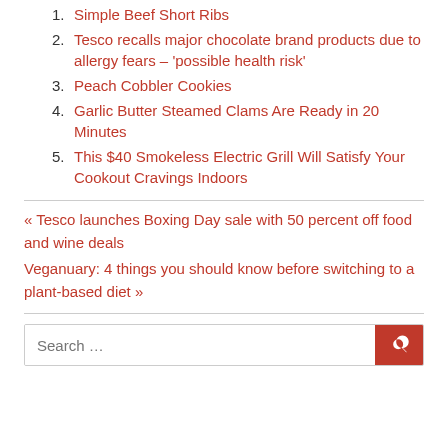Simple Beef Short Ribs
Tesco recalls major chocolate brand products due to allergy fears – 'possible health risk'
Peach Cobbler Cookies
Garlic Butter Steamed Clams Are Ready in 20 Minutes
This $40 Smokeless Electric Grill Will Satisfy Your Cookout Cravings Indoors
« Tesco launches Boxing Day sale with 50 percent off food and wine deals
Veganuary: 4 things you should know before switching to a plant-based diet »